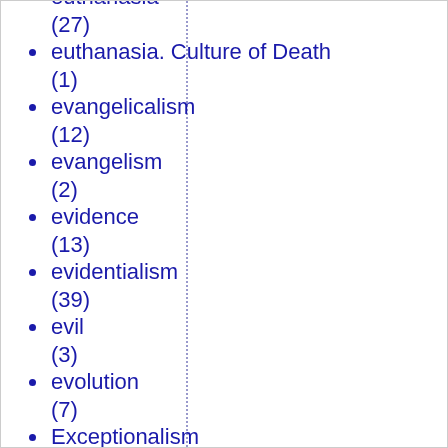euthanasia (27)
euthanasia. Culture of Death (1)
evangelicalism (12)
evangelism (2)
evidence (13)
evidentialism (39)
evil (3)
evolution (7)
Exceptionalism (5)
Executive Power (1)
experimentation